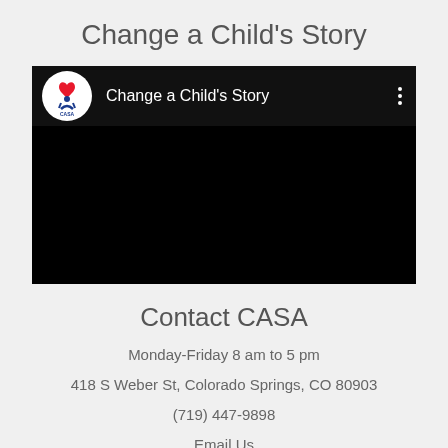Change a Child's Story
[Figure (screenshot): YouTube-style video player thumbnail showing CASA logo and 'Change a Child's Story' title on black background with three-dot menu icon]
Contact CASA
Monday-Friday 8 am to 5 pm
418 S Weber St, Colorado Springs, CO 80903
(719) 447-9898
Email Us